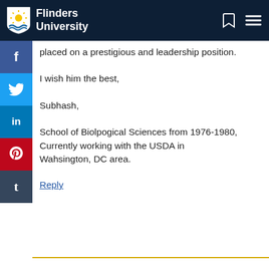Flinders University
placed on a prestigious and leadership position.
I wish him the best,
Subhash,
School of Biolpogical Sciences from 1976-1980, Currently working with the USDA in Wahsington, DC area.
Reply